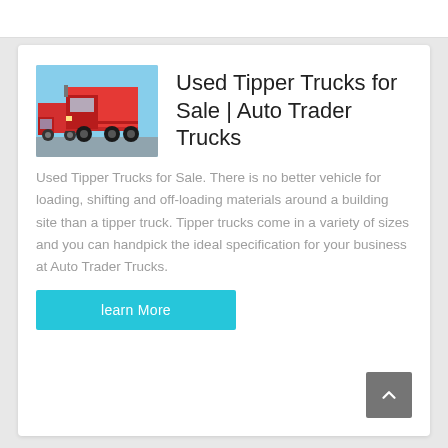[Figure (photo): Red tipper/dump trucks photographed from the side against a light blue sky, parked in a row.]
Used Tipper Trucks for Sale | Auto Trader Trucks
Used Tipper Trucks for Sale. There is no better vehicle for loading, shifting and off-loading materials around a building site than a tipper truck. Tipper trucks come in a variety of sizes and you can handpick the ideal specification for your business at Auto Trader Trucks.